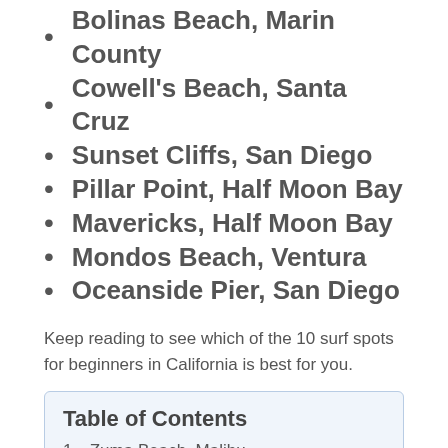Bolinas Beach, Marin County
Cowell's Beach, Santa Cruz
Sunset Cliffs, San Diego
Pillar Point, Half Moon Bay
Mavericks, Half Moon Bay
Mondos Beach, Ventura
Oceanside Pier, San Diego
Keep reading to see which of the 10 surf spots for beginners in California is best for you.
Table of Contents
1. Zuma Beach, Malibu
2. Leo Carrillo, Ventura County
3. Tamarack State Beach, Carlsbad
4. Bolinas Beach, Marin County
5. Cowell's Beach, Santa Cruz